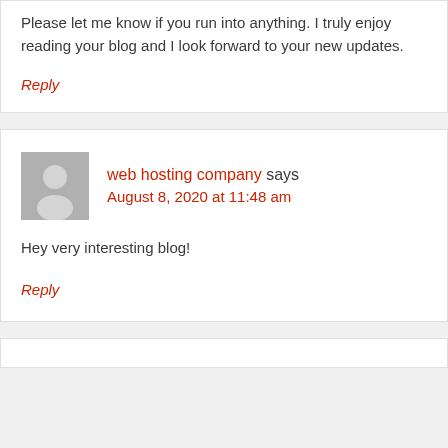Please let me know if you run into anything. I truly enjoy reading your blog and I look forward to your new updates.
Reply
web hosting company says August 8, 2020 at 11:48 am
Hey very interesting blog!
Reply